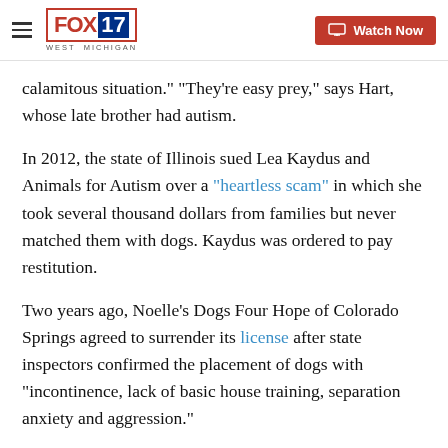FOX 17 WEST MICHIGAN — Watch Now
calamitous situation.” “They’re easy prey,” says Hart, whose late brother had autism.
In 2012, the state of Illinois sued Lea Kaydus and Animals for Autism over a “heartless scam” in which she took several thousand dollars from families but never matched them with dogs. Kaydus was ordered to pay restitution.
Two years ago, Noelle’s Dogs Four Hope of Colorado Springs agreed to surrender its license after state inspectors confirmed the placement of dogs with “incontinence, lack of basic house training, separation anxiety and aggression.”